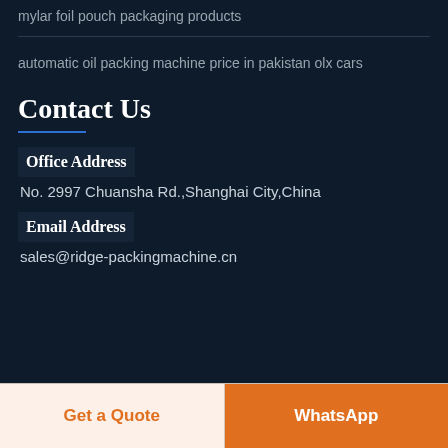mylar foil pouch packaging products
automatic oil packing machine price in pakistan olx cars
Contact Us
Office Address
No. 2997 Chuansha Rd.,Shanghai City,China
Email Address
sales@ridge-packingmachine.cn
Get a Quote
WhatsApp